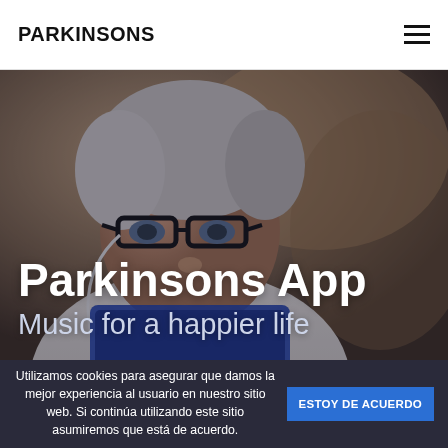PARKINSONS
[Figure (photo): Elderly woman with glasses and white hair, wearing earphones and looking down at a tablet device, with a warm blurred background. Overlaid with large white text 'Parkinsons App' and subtitle 'Music for a happier life'.]
Parkinsons App
Music for a happier life
Utilizamos cookies para asegurar que damos la mejor experiencia al usuario en nuestro sitio web. Si continúa utilizando este sitio asumiremos que está de acuerdo.
ESTOY DE ACUERDO